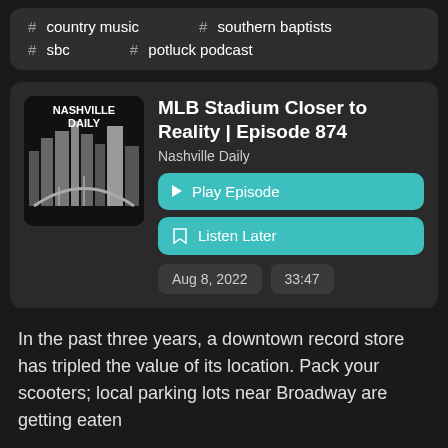# country music   # southern baptists
# sbc   # potluck podcast
MLB Stadium Closer to Reality | Episode 874
Nashville Daily
▶ Play Episode
🔖 Listen Later
Aug 8, 2022   33:47
In the past three years, a downtown record store has tripled the value of its location. Pack your scooters; local parking lots near Broadway are getting eaten